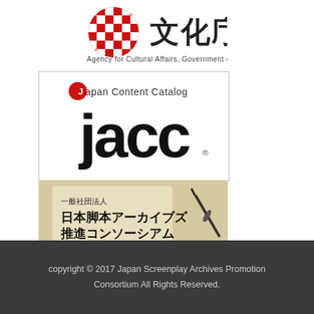[Figure (logo): Agency for Cultural Affairs, Government of Japan logo with Japanese kanji 文化庁 and a decorative red checkerboard circular emblem]
[Figure (logo): Japan Content Catalog (JACC) logo — black text on white background with red circle on the J]
[Figure (logo): 一般社団法人 日本脚本アーカイブズ推進コンソーシアム — Japanese organization logo with parchment-style background and fountain pen graphic]
[Figure (logo): 脚本・台本の総合一覧 脚本データベース The Script Database of Japan — dark teal/navy banner with gold Japanese text]
copyright © 2017 Japan Screenplay Archives Promotion Consortium All Rights Reserved.